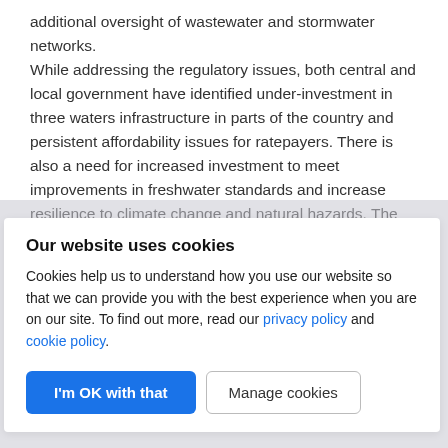additional oversight of wastewater and stormwater networks.

While addressing the regulatory issues, both central and local government have identified under-investment in three waters infrastructure in parts of the country and persistent affordability issues for ratepayers. There is also a need for increased investment to meet improvements in freshwater standards and increase resilience to climate change and natural hazards. The government believes that this will offer…
Our website uses cookies
Cookies help us to understand how you use our website so that we can provide you with the best experience when you are on our site. To find out more, read our privacy policy and cookie policy.